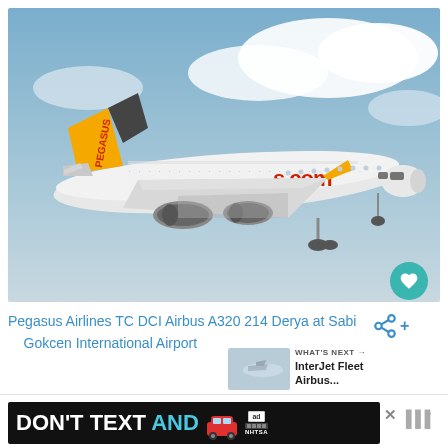[Figure (photo): Pegasus Airlines Airbus A320 aircraft in flight against a blue sky with white clouds. The aircraft has a yellow tail with PEGASUS text, white fuselage with orange/red lettering showing 's.com', and yellow winglets.]
Pegasus Airlines TC DCI Airbus A320 214 Derya at Sabi
Gokcen International Airport
[Figure (photo): Small thumbnail of an aircraft, for the 'What's Next' section linking to InterJet Fleet Airbus...]
WHAT'S NEXT → InterJet Fleet Airbus...
[Figure (other): Advertisement banner: DON'T TEXT AND [car emoji] with NHTSA ad badge]